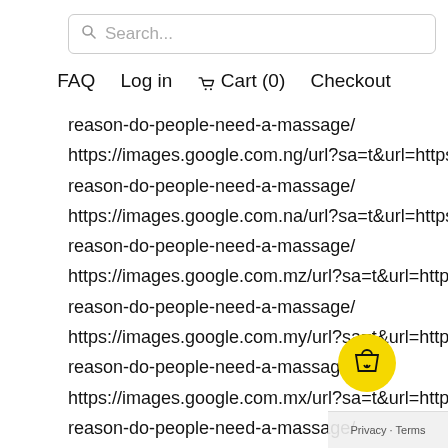[Figure (screenshot): Search bar with magnifying glass icon and placeholder text 'Search...']
FAQ  Log in  🛒 Cart (0)  Checkout
reason-do-people-need-a-massage/
https://images.google.com.ng/url?sa=t&url=https://o
reason-do-people-need-a-massage/
https://images.google.com.na/url?sa=t&url=https://o
reason-do-people-need-a-massage/
https://images.google.com.mz/url?sa=t&url=https://o
reason-do-people-need-a-massage/
https://images.google.com.my/url?sa=t&url=https://o
reason-do-people-need-a-massage/
https://images.google.com.mx/url?sa=t&url=https://o
reason-do-people-need-a-massage/
https://images.google.com.mt/url?sa=t&ur...
reason-do-people-need-a-massage/